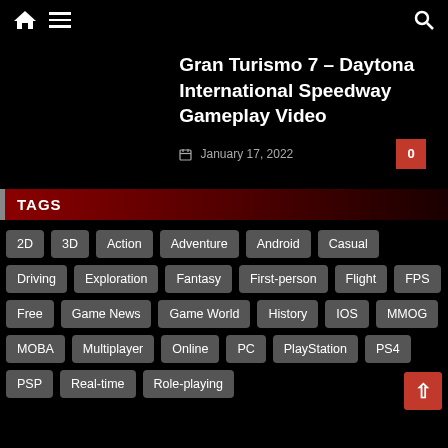Home Menu Search
Gran Turismo 7 – Daytona International Speedway Gameplay Video
January 17, 2022  0
TAGS
2D
3D
Action
Adventure
Android
Casual
Driving
Exploration
Fantasy
First-person
Flight
FPS
Free
Game News
Game World
History
IOS
MMOG
MOBA
Multiplayer
Online
PC
PlayStation
PS4
PSP
Real-time
Role-playing